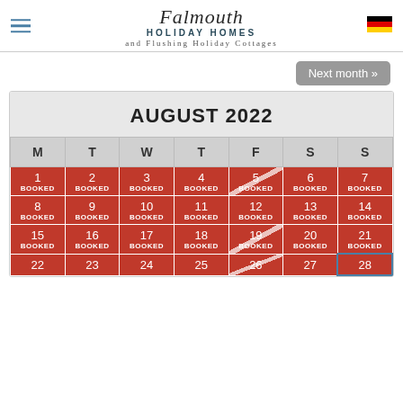Falmouth HOLIDAY HOMES and Flushing Holiday Cottages
Next month »
| M | T | W | T | F | S | S |
| --- | --- | --- | --- | --- | --- | --- |
| 1 BOOKED | 2 BOOKED | 3 BOOKED | 4 BOOKED | 5 BOOKED | 6 BOOKED | 7 BOOKED |
| 8 BOOKED | 9 BOOKED | 10 BOOKED | 11 BOOKED | 12 BOOKED | 13 BOOKED | 14 BOOKED |
| 15 BOOKED | 16 BOOKED | 17 BOOKED | 18 BOOKED | 19 BOOKED | 20 BOOKED | 21 BOOKED |
| 22 | 23 | 24 | 25 | 26 | 27 | 28 |